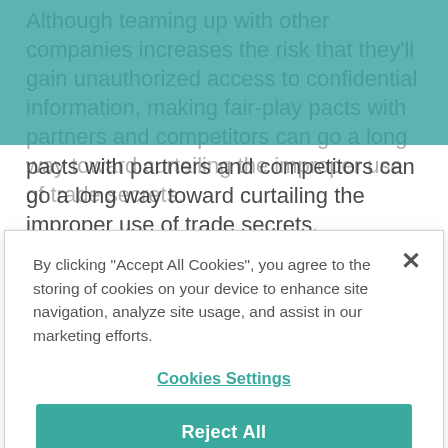Although teaming up with other companies increases the risk that they'll gain unauthorized access to confidential information, making fair-play pacts with partners and competitors can go a long way toward curtailing the improper use of trade secrets.
In the next blog posting in our ongoing series on
By clicking "Accept All Cookies", you agree to the storing of cookies on your device to enhance site navigation, analyze site usage, and assist in our marketing efforts.
Cookies Settings
Reject All
Accept Cookies